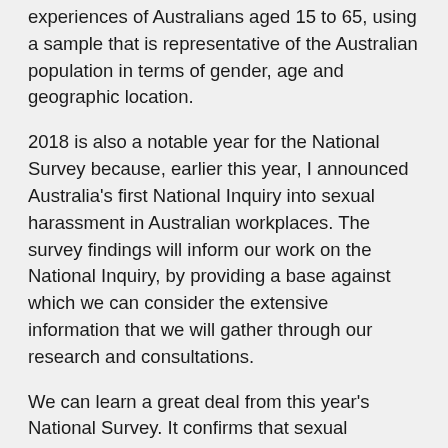experiences of Australians aged 15 to 65, using a sample that is representative of the Australian population in terms of gender, age and geographic location.
2018 is also a notable year for the National Survey because, earlier this year, I announced Australia’s first National Inquiry into sexual harassment in Australian workplaces. The survey findings will inform our work on the National Inquiry, by providing a base against which we can consider the extensive information that we will gather through our research and consultations.
We can learn a great deal from this year’s National Survey. It confirms that sexual harassment is widespread and pervasive. An extraordinary number, one in three people, have experienced sexual harassment at work in the last five years. This is a marked increase in the prevalence rate recorded by previous surveys. We cannot be certain if this is due to an increase in sexually harassing behaviours, or to